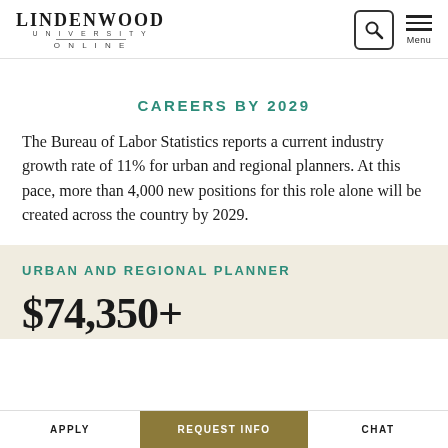LINDENWOOD UNIVERSITY ONLINE — navigation header with search and menu icons
CAREERS BY 2029
The Bureau of Labor Statistics reports a current industry growth rate of 11% for urban and regional planners. At this pace, more than 4,000 new positions for this role alone will be created across the country by 2029.
URBAN AND REGIONAL PLANNER
$74,350+
APPLY | REQUEST INFO | CHAT